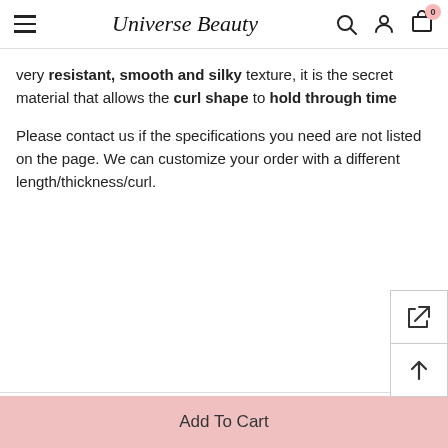Universe Beauty — navigation header with hamburger menu, search, account, and cart icons
very resistant, smooth and silky texture, it is the secret material that allows the curl shape to hold through time
Please contact us if the specifications you need are not listed on the page. We can customize your order with a different length/thickness/curl.
SHIPPING
Light Brown 0.07 Premium Lash Extensio... $9.90 USD
Add To Cart